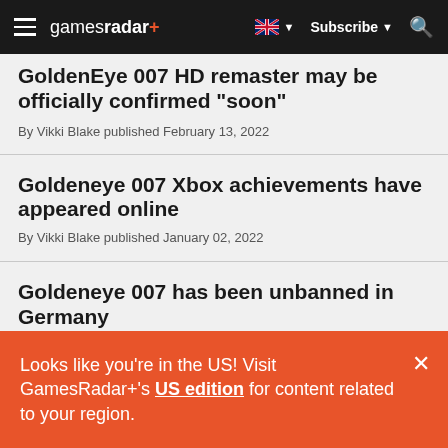gamesradar+ | Subscribe | Search
GoldenEye 007 HD remaster may be officially confirmed "soon"
By Vikki Blake published February 13, 2022
Goldeneye 007 Xbox achievements have appeared online
By Vikki Blake published January 02, 2022
Goldeneye 007 has been unbanned in Germany
Looks like you're in the US! Visit GamesRadar+'s US edition for content related to your region.